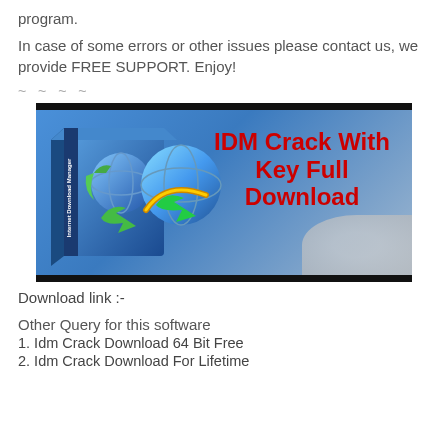program.
In case of some errors or other issues please contact us, we provide FREE SUPPORT. Enjoy!
~ ~ ~ ~
[Figure (illustration): IDM (Internet Download Manager) promotional banner image showing the IDM software box with globe icon and green arrow, with text 'IDM Crack With Key Full Download' in red bold font on blue background, bordered by thick black bars top and bottom.]
Download link :-
Other Query for this software
1. Idm Crack Download 64 Bit Free
2. Idm Crack Download For Lifetime